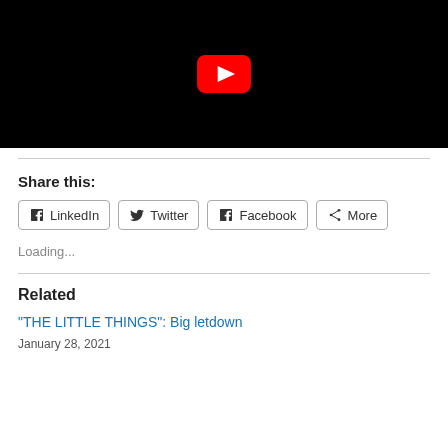[Figure (screenshot): YouTube video thumbnail showing a dark figure in a black outfit against a black background, with the YouTube play button logo (red rounded rectangle with white triangle) centered.]
Share this:
LinkedIn  Twitter  Facebook  More
Loading...
Related
“THE LITTLE THINGS”: Big letdown
January 28, 2021